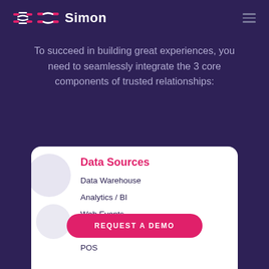Simon
To succeed in building great experiences, you need to seamlessly integrate the 3 core components of trusted relationships:
Data Sources
Data Warehouse
Analytics / BI
Web Events
Campaign Management
POS
REQUEST A DEMO